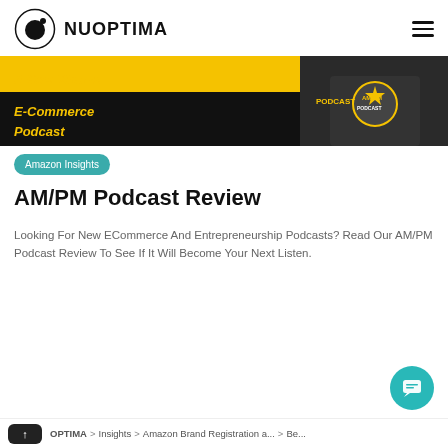NUOPTIMA
[Figure (photo): AM/PM Podcast promotional banner with yellow and black background, text 'A New Kind of E-Commerce Podcast' and a person wearing an AM/PM Podcast t-shirt]
Amazon Insights
AM/PM Podcast Review
Looking For New ECommerce And Entrepreneurship Podcasts? Read Our AM/PM Podcast Review To See If It Will Become Your Next Listen.
NUOPTIMA > Insights > Amazon Brand Registration a... > Be...